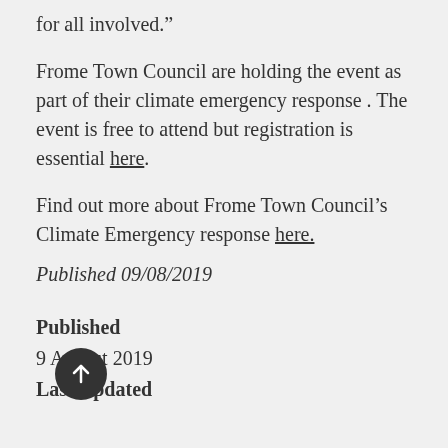for all involved.”
Frome Town Council are holding the event as part of their climate emergency response . The event is free to attend but registration is essential here.
Find out more about Frome Town Council’s Climate Emergency response here.
Published 09/08/2019
Published
9 August 2019
Last Updated